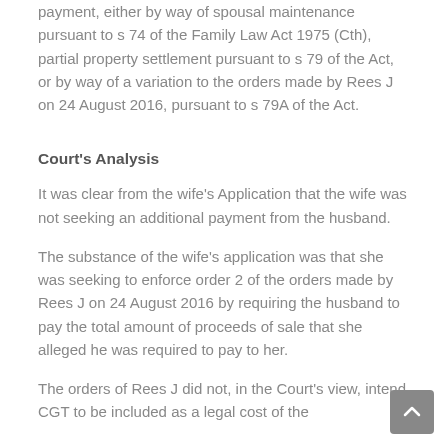payment, either by way of spousal maintenance pursuant to s 74 of the Family Law Act 1975 (Cth), partial property settlement pursuant to s 79 of the Act, or by way of a variation to the orders made by Rees J on 24 August 2016, pursuant to s 79A of the Act.
Court's Analysis
It was clear from the wife's Application that the wife was not seeking an additional payment from the husband.
The substance of the wife's application was that she was seeking to enforce order 2 of the orders made by Rees J on 24 August 2016 by requiring the husband to pay the total amount of proceeds of sale that she alleged he was required to pay to her.
The orders of Rees J did not, in the Court's view, intend CGT to be included as a legal cost of the